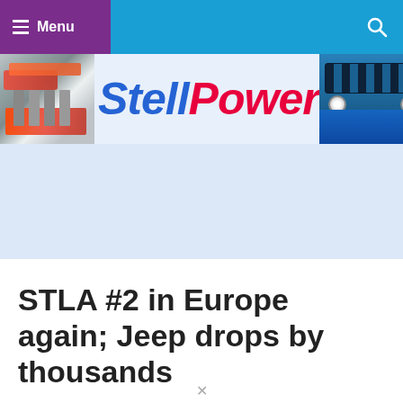≡ Menu
[Figure (logo): StellPower logo banner with engine parts on left, blue/pink italic StellPower text in center, blue Jeep grille on right]
[Figure (other): Advertisement placeholder area with light blue background]
STLA #2 in Europe again; Jeep drops by thousands